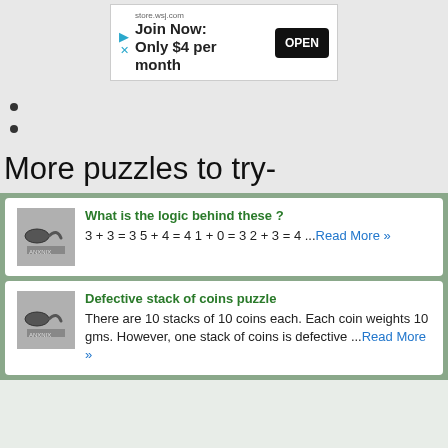[Figure (screenshot): Advertisement banner for store.wsj.com with 'Join Now: Only $4 per month' text and OPEN button]
•
•
More puzzles to try-
What is the logic behind these? 3 + 3 = 3 5 + 4 = 4 1 + 0 = 3 2 + 3 = 4 ...Read More »
Defective stack of coins puzzle. There are 10 stacks of 10 coins each. Each coin weights 10 gms. However, one stack of coins is defective ...Read More »